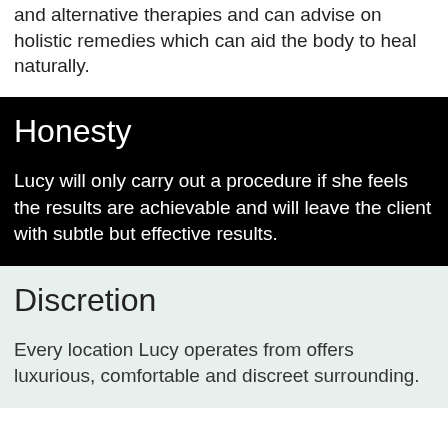and alternative therapies and can advise on holistic remedies which can aid the body to heal naturally.
Honesty
Lucy will only carry out a procedure if she feels the results are achievable and will leave the client with subtle but effective results.
Discretion
Every location Lucy operates from offers luxurious, comfortable and discreet surrounding.